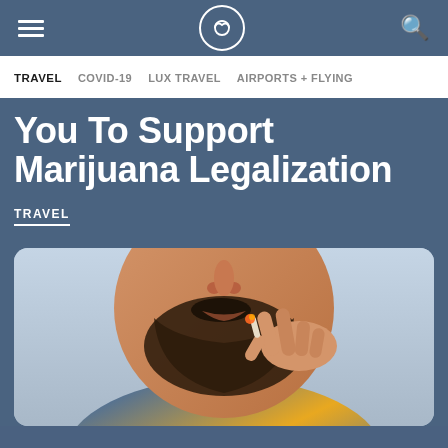Navigation bar with hamburger menu, M logo, and search icon
TRAVEL  COVID-19  LUX TRAVEL  AIRPORTS + FLYING
You To Support Marijuana Legalization
TRAVEL
[Figure (photo): Close-up photo of a bearded man smoking marijuana, fingers holding a lit joint near his lips]